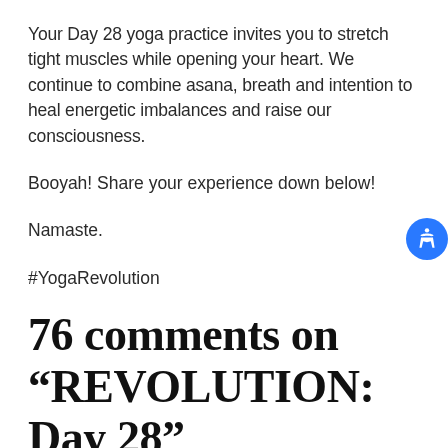Your Day 28 yoga practice invites you to stretch tight muscles while opening your heart. We continue to combine asana, breath and intention to heal energetic imbalances and raise our consciousness.
Booyah! Share your experience down below!
Namaste.
#YogaRevolution
76 comments on “REVOLUTION: Day 28”